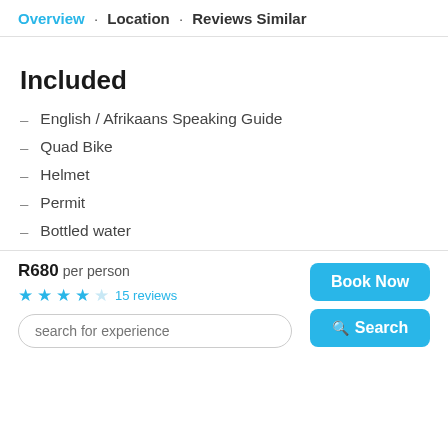Overview · Location · Reviews Similar
Included
English / Afrikaans Speaking Guide
Quad Bike
Helmet
Permit
Bottled water
R680 per person
★★★★☆  15 reviews
search for experience
Book Now
Search